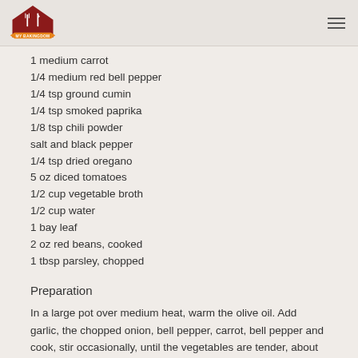[Figure (logo): My Bakingdom logo: red house shape with fork and knife icons, orange banner below with text MY BAKINGDOM]
1 medium carrot
1/4 medium red bell pepper
1/4 tsp ground cumin
1/4 tsp smoked paprika
1/8 tsp chili powder
salt and black pepper
1/4 tsp dried oregano
5 oz diced tomatoes
1/2 cup vegetable broth
1/2 cup water
1 bay leaf
2 oz red beans, cooked
1 tbsp parsley, chopped
Preparation
In a large pot over medium heat, warm the olive oil. Add garlic, the chopped onion, bell pepper, carrot, bell pepper and cook, stir occasionally, until the vegetables are tender, about 7 to 10 minutes.
Add chili powder, cumin, smoked paprika and oregano.